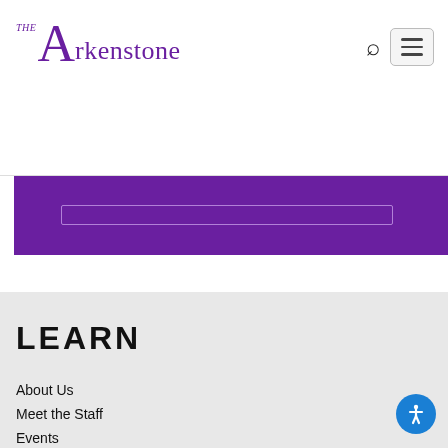The Arkenstone
[Figure (other): Purple banner with a light-bordered rectangular bar element in the center]
LEARN
About Us
Meet the Staff
Events
Wisdom Pocket Blog
Collection Consulting
Dallas Symposium